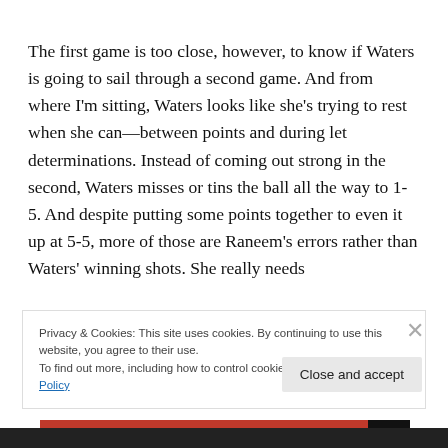The first game is too close, however, to know if Waters is going to sail through a second game. And from where I'm sitting, Waters looks like she's trying to rest when she can—between points and during let determinations. Instead of coming out strong in the second, Waters misses or tins the ball all the way to 1-5. And despite putting some points together to even it up at 5-5, more of those are Raneem's errors rather than Waters' winning shots. She really needs
Privacy & Cookies: This site uses cookies. By continuing to use this website, you agree to their use.
To find out more, including how to control cookies, see here: Cookie Policy
Close and accept